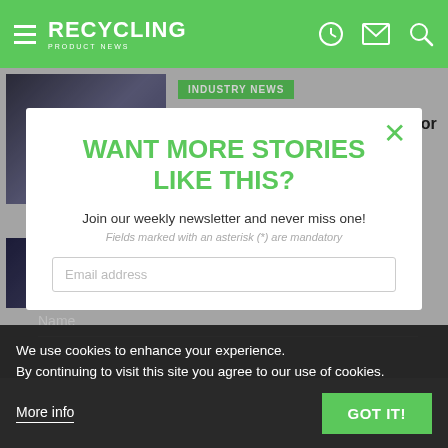RECYCLING PRODUCT NEWS
INDUSTRY NEWS
CP Group wins NWRA's Innovator of the Year award
WANT MORE STORIES LIKE THIS?
Join our weekly newsletter and never miss one!
Fields marked with an asterisk (*) are mandatory
Email address
Name
Select a Country
We use cookies to enhance your experience. By continuing to visit this site you agree to our use of cookies.
More info
GOT IT!